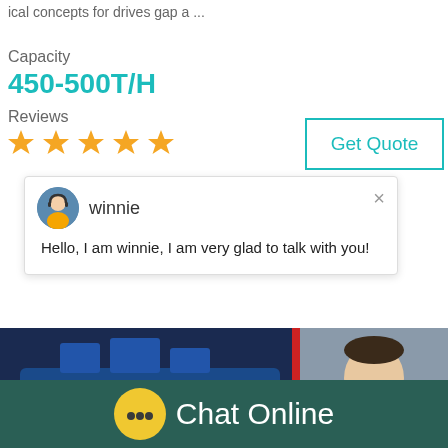ical concepts for drives gap a ...
Capacity
450-500T/H
Reviews
[Figure (other): Five orange star rating icons]
[Figure (other): Get Quote button with teal border]
[Figure (other): Chat popup with avatar of winnie and message: Hello, I am winnie, I am very glad to talk with you!]
[Figure (photo): Photo of blue industrial machine/crusher equipment]
[Figure (photo): Person in striped shirt on phone, with teal badge showing number 1, orange Click to chat button, orange Enquiry bar]
Chat Online